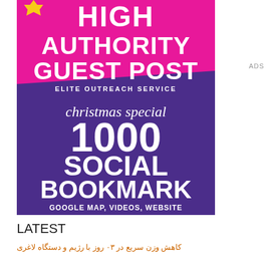[Figure (illustration): Advertisement banner: High Authority Guest Post - Elite Outreach Service, Christmas Special - 1000 Social Bookmark, Google Map, Videos, Website. Pink top section, purple bottom section with white bold text.]
ADS
LATEST
کاهش وزن سریع در ۳۰ روز با رژیم و دستگاه لاغری